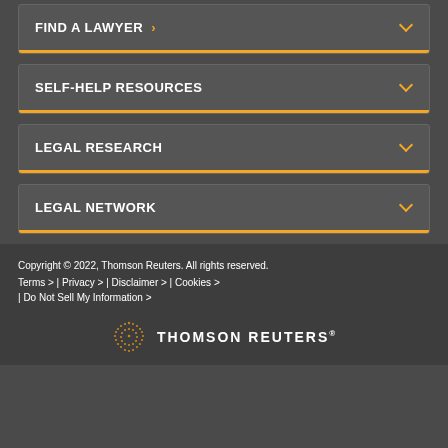FIND A LAWYER >
SELF-HELP RESOURCES
LEGAL RESEARCH
LEGAL NETWORK
Copyright © 2022, Thomson Reuters. All rights reserved.
Terms > | Privacy > | Disclaimer > | Cookies >
 | Do Not Sell My Information >
[Figure (logo): Thomson Reuters logo with dotted sphere icon and THOMSON REUTERS wordmark in white on dark background]